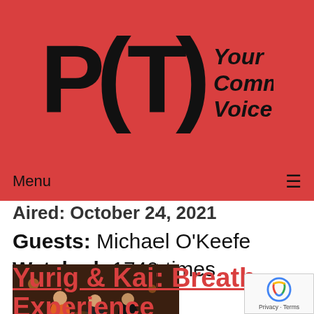[Figure (logo): PCTV logo with stylized block letters and tagline 'Your Community Voice' on red background]
Menu ≡
Aired: October 24, 2021
Guests: Michael O'Keefe
Watched: 1740 times
[Figure (screenshot): TV studio interview scene with three people seated]
Yurig & Kai: Breath Experience